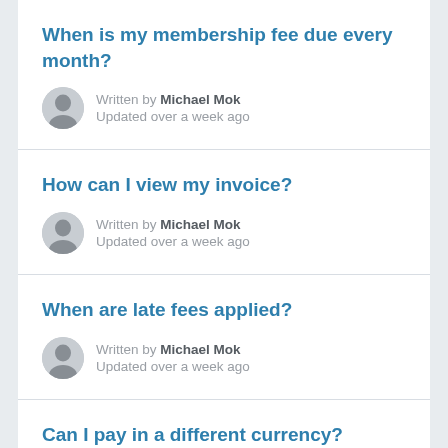When is my membership fee due every month?
Written by Michael Mok
Updated over a week ago
How can I view my invoice?
Written by Michael Mok
Updated over a week ago
When are late fees applied?
Written by Michael Mok
Updated over a week ago
Can I pay in a different currency?
Written by Michael Mok